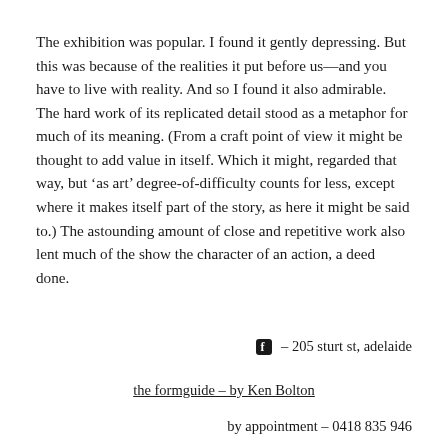The exhibition was popular. I found it gently depressing. But this was because of the realities it put before us—and you have to live with reality. And so I found it also admirable. The hard work of its replicated detail stood as a metaphor for much of its meaning. (From a craft point of view it might be thought to add value in itself. Which it might, regarded that way, but 'as art' degree-of-difficulty counts for less, except where it makes itself part of the story, as here it might be said to.) The astounding amount of close and repetitive work also lent much of the show the character of an action, a deed done.
– 205 sturt st, adelaide
the formguide – by Ken Bolton
by appointment – 0418 835 946